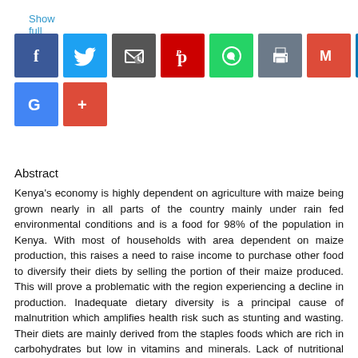Show full item record
[Figure (infographic): Row of social media sharing icon buttons: Facebook (blue), Twitter (light blue), Email (dark grey), Pinterest (red), WhatsApp (green), Print (grey), Gmail (red), LinkedIn (blue), Google (blue), Google+ (orange-red)]
Abstract
Kenya's economy is highly dependent on agriculture with maize being grown nearly in all parts of the country mainly under rain fed environmental conditions and is a food for 98% of the population in Kenya. With most of households with area dependent on maize production, this raises a need to raise income to purchase other food to diversify their diets by selling the portion of their maize produced. This will prove a problematic with the region experiencing a decline in production. Inadequate dietary diversity is a principal cause of malnutrition which amplifies health risk such as stunting and wasting. Their diets are mainly derived from the staples foods which are rich in carbohydrates but low in vitamins and minerals. Lack of nutritional awareness and education for those who prepare food among rural households make them